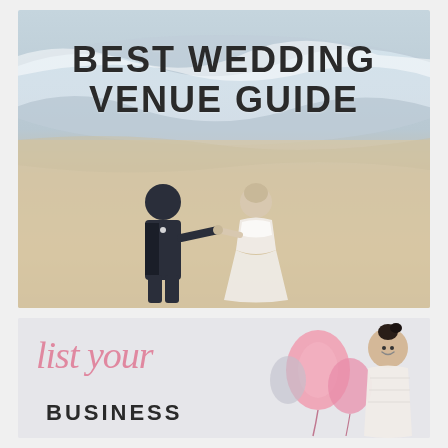[Figure (photo): Beach wedding photo with couple holding hands on sandy beach with ocean waves. Groom in dark navy suit, bride in white lace dress. Text overlay reads 'BEST WEDDING VENUE GUIDE' in large dark bold letters.]
BEST WEDDING VENUE GUIDE
[Figure (photo): Light grey banner with pink cursive script 'list your' and bold black text 'BUSINESS'. Right side shows a woman in white dress with pink balloons and decorative elements.]
list your BUSINESS